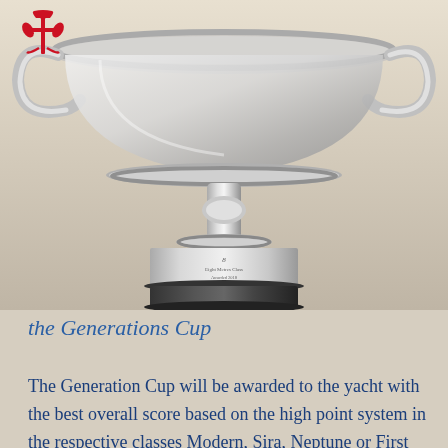[Figure (photo): Photograph of a silver trophy cup (the Generations Cup) with ornate handles and decorative rim, mounted on a black base with a silver cylindrical pedestal. A small red logo/emblem is visible in the top-left corner of the image.]
the Generations Cup
The Generation Cup will be awarded to the yacht with the best overall score based on the high point system in the respective classes Modern, Sira, Neptune or First rule. The